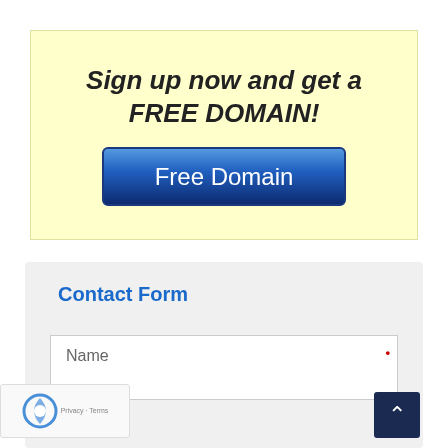[Figure (infographic): Yellow promotional box with bold italic text 'Sign up now and get a FREE DOMAIN!' and a blue gradient button labeled 'Free Domain']
Contact Form
Name
Phone